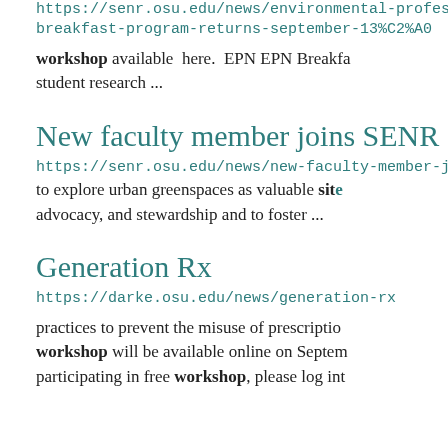https://senr.osu.edu/news/environmental-professional-breakfast-program-returns-september-13%C2%A0
workshop available here. EPN EPN Breakfast student research ...
New faculty member joins SENR
https://senr.osu.edu/news/new-faculty-member-joins to explore urban greenspaces as valuable site advocacy, and stewardship and to foster ...
Generation Rx
https://darke.osu.edu/news/generation-rx
practices to prevent the misuse of prescription workshop will be available online on September participating in free workshop, please log into